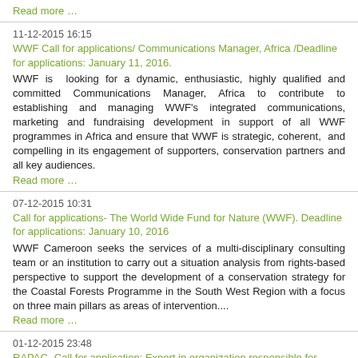Read more …
11-12-2015 16:15
WWF Call for applications/ Communications Manager, Africa /Deadline for applications: January 11, 2016.
WWF is  looking for a dynamic, enthusiastic, highly qualified and committed Communications Manager, Africa to contribute to establishing and managing WWF's integrated communications, marketing and fundraising development in support of all WWF programmes in Africa and ensure that WWF is strategic, coherent,  and compelling in its engagement of supporters, conservation partners and all key audiences.
Read more …
07-12-2015 10:31
Call for applications- The World Wide Fund for Nature (WWF). Deadline for applications: January 10, 2016
WWF Cameroon seeks the services of a multi-disciplinary consulting team or an institution to carry out a situation analysis from rights-based perspective to support the development of a conservation strategy for the Coastal Forests Programme in the South West Region with a focus on three main pillars as areas of intervention....
Read more …
01-12-2015 23:48
RAPAC- Call for application: Expert in organization responsible for increasing the legitimacy of RAPAC and Protected Areas of Central Africa
Deadline for submissions until December 18, 2015 at 18h (time) Libreville
Read more …
01-12-2015 23:45